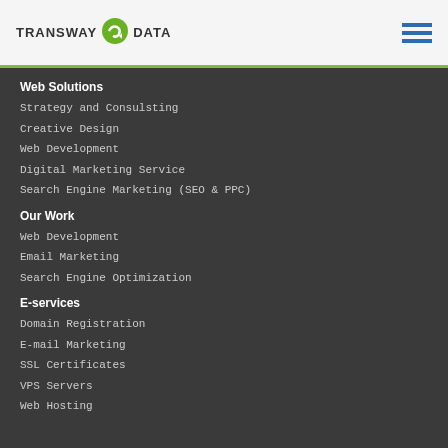TRANSWAY DATA
Web Solutions
Strategy and Consulsting
Creative Design
Web Development
Digital Marketing Service
Search Engine Marketing (SEO & PPC)
Our Work
Web Development
Email Marketing
Search Engine Optimization
E-services
Domain Registration
E-mail Marketing
SSL Certificates
VPS Servers
Web Hosting